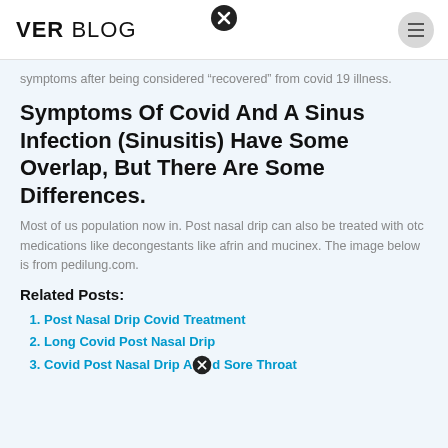VER BLOG
symptoms after being considered “recovered” from covid 19 illness.
Symptoms Of Covid And A Sinus Infection (Sinusitis) Have Some Overlap, But There Are Some Differences.
Most of us population now in. Post nasal drip can also be treated with otc medications like decongestants like afrin and mucinex. The image below is from pedilung.com.
Related Posts:
Post Nasal Drip Covid Treatment
Long Covid Post Nasal Drip
Covid Post Nasal Drip And Sore Throat